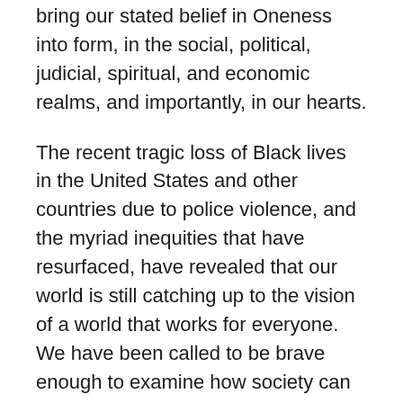bring our stated belief in Oneness into form, in the social, political, judicial, spiritual, and economic realms, and importantly, in our hearts.
The recent tragic loss of Black lives in the United States and other countries due to police violence, and the myriad inequities that have resurfaced, have revealed that our world is still catching up to the vision of a world that works for everyone. We have been called to be brave enough to examine how society can be out of step with its values and how we, as individuals can be out of step with our spiritual values. One of our values in Centers for Spiritual Living is Love as the self-givingness of the Divine to all creation, expressing through